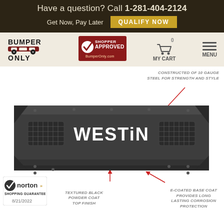Have a question? Call 1-281-404-2124
Get Now, Pay Later  QUALIFY NOW
[Figure (logo): BUMPER ONLY logo with vehicle icon]
[Figure (logo): Shopper Approved badge for BumperOnly.com]
[Figure (illustration): Shopping cart icon with 0 items - MY CART]
MENU
[Figure (photo): Westin brand truck front bumper - dark textured black, showing mesh vents and WESTIN logo text. Annotations: CONSTRUCTED OF 10 GAUGE STEEL FOR STRENGTH AND STYLE (top right), TEXTURED BLACK POWDER COAT TOP FINISH (bottom left), E-COATED BASE COAT PROVIDES LONG LASTING CORROSION PROTECTION (bottom right)]
[Figure (logo): Norton Shopping Guarantee badge dated 8/21/2022]